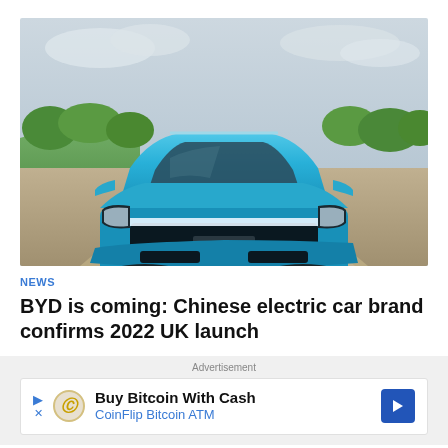[Figure (photo): Front view of a blue BYD electric SUV driving on a road with green trees and overcast sky in the background]
NEWS
BYD is coming: Chinese electric car brand confirms 2022 UK launch
Advertisement
Buy Bitcoin With Cash
CoinFlip Bitcoin ATM